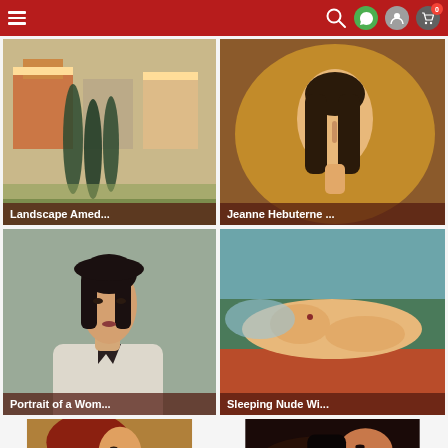Navigation header with menu, search, WhatsApp, account, and cart (0) icons
[Figure (photo): Painting: Landscape Amed... - Mediterranean village with cypress trees by Amedeo Modigliani]
[Figure (photo): Painting: Jeanne Hebuterne ... - Portrait of woman with large hat by Amedeo Modigliani]
[Figure (photo): Painting: Portrait of a Wom... - Portrait of a woman with dark bow tie by Amedeo Modigliani]
[Figure (photo): Painting: Sleeping Nude Wi... - Reclining nude figure by Amedeo Modigliani]
[Figure (photo): Painting: partial view of woman with red hair/turban, profile view]
[Figure (photo): Painting: partial view of reclining dark-haired woman]